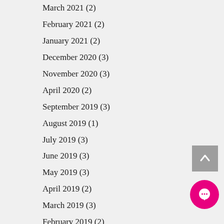March 2021 (2)
February 2021 (2)
January 2021 (2)
December 2020 (3)
November 2020 (3)
April 2020 (2)
September 2019 (3)
August 2019 (1)
July 2019 (3)
June 2019 (3)
May 2019 (3)
April 2019 (2)
March 2019 (3)
February 2019 (2)
January 2019 (2)
December 2018 (2)
November 2018 (3)
October 2018 (2)
September 2018 (1)